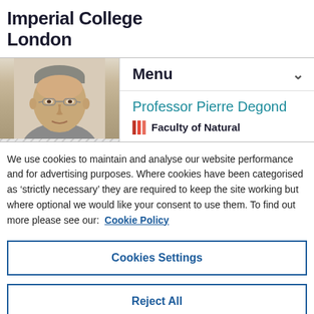Imperial College London
[Figure (photo): Navigation bar with hatched photo area showing cropped face of Professor Pierre Degond (older man with glasses and grey hair), alongside menu panel with 'Menu' label and chevron, professor name in teal, and Faculty of Natural text with red bars icon]
We use cookies to maintain and analyse our website performance and for advertising purposes. Where cookies have been categorised as ‘strictly necessary’ they are required to keep the site working but where optional we would like your consent to use them. To find out more please see our:  Cookie Policy
Cookies Settings
Reject All